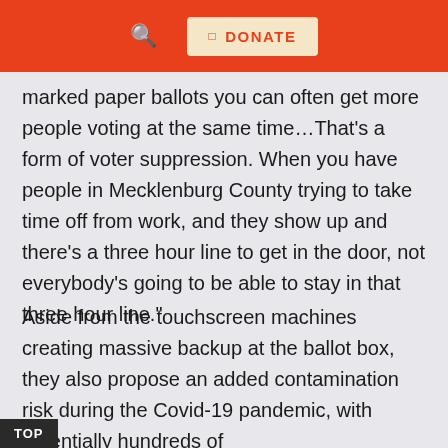DONATE
marked paper ballots you can often get more people voting at the same time...That's a form of voter suppression. When you have people in Mecklenburg County trying to take time off from work, and they show up and there's a three hour line to get in the door, not everybody's going to be able to stay in that three hour line."
Aside from the touchscreen machines creating massive backup at the ballot box, they also propose an added contamination risk during the Covid-19 pandemic, with potentially hundreds of voters touching the same screen over the
TOP